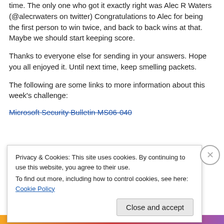time. The only one who got it exactly right was Alec R Waters (@alecrwaters on twitter) Congratulations to Alec for being the first person to win twice, and back to back wins at that. Maybe we should start keeping score.
Thanks to everyone else for sending in your answers. Hope you all enjoyed it. Until next time, keep smelling packets.
The following are some links to more information about this week's challenge:
Microsoft Security Bulletin MS06-040
Privacy & Cookies: This site uses cookies. By continuing to use this website, you agree to their use.
To find out more, including how to control cookies, see here: Cookie Policy